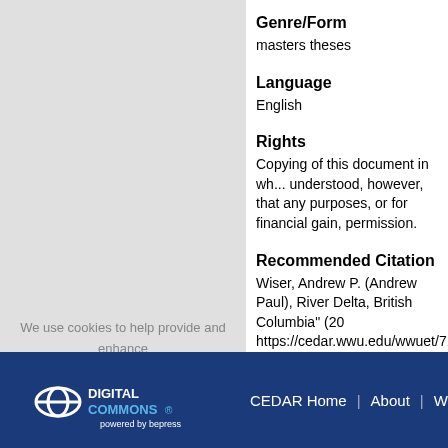Genre/Form
masters theses
Language
English
Rights
Copying of this document in wh... understood, however, that any purposes, or for financial gain, permission.
Recommended Citation
Wiser, Andrew P. (Andrew Paul), River Delta, British Columbia" (20 https://cedar.wwu.edu/wwuet/718
We use cookies to help provide and enhance our service and tailor content. By closing this message, you agree to the use of cookies
CEDAR Home | About | We...